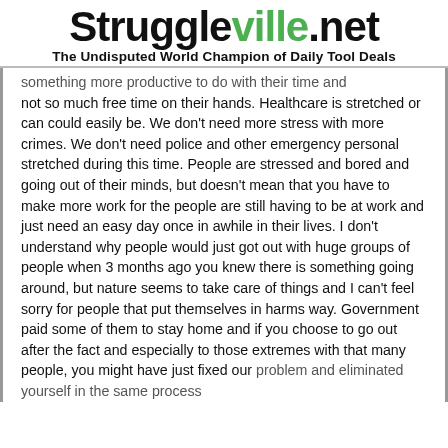Struggleville.net — The Undisputed World Champion of Daily Tool Deals
something more productive to do with their time and not so much free time on their hands. Healthcare is stretched or can could easily be. We don't need more stress with more crimes. We don't need police and other emergency personal stretched during this time. People are stressed and bored and going out of their minds, but doesn't mean that you have to make more work for the people are still having to be at work and just need an easy day once in awhile in their lives. I don't understand why people would just got out with huge groups of people when 3 months ago you knew there is something going around, but nature seems to take care of things and I can't feel sorry for people that put themselves in harms way. Government paid some of them to stay home and if you choose to go out after the fact and especially to those extremes with that many people, you might have just fixed our problem and eliminated yourself in the same process